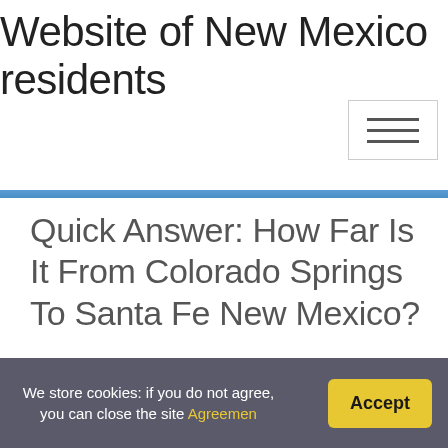Website of New Mexico residents
Quick Answer: How Far Is It From Colorado Springs To Santa Fe New Mexico?
Home / New Mexico / Quick Answer: How Far Is It From Colorado Springs To
We store cookies: if you do not agree, you can close the site Agreemen Accept